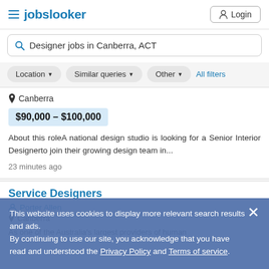jobslooker | Login
Designer jobs in Canberra, ACT
Location ▼   Similar queries ▼   Other ▼   All filters
Canberra
$90,000 – $100,000
About this roleA national design studio is looking for a Senior Interior Designerto join their growing design team in...
23 minutes ago
Service Designers
Porter Allen
Canberra
As one of the Australia's largest providers of human
This website uses cookies to display more relevant search results and ads.
By continuing to use our site, you acknowledge that you have read and understood the Privacy Policy and Terms of service.